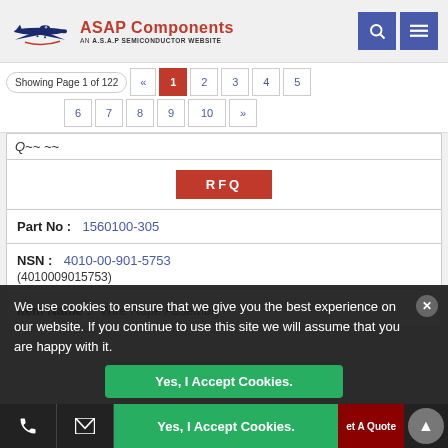[Figure (logo): ASAP Components logo with airplane silhouette and 'AN A.S.A.P SEMICONDUCTOR WEBSITE' tagline]
Showing Page 1 of 122
« 1 2 3 4 5 6 7 8 9 10 »
Q~~ ~~
RFQ
Part No : 1560100-305
NSN : 4010-00-901-5753 (4010009015753)
Item Name : Wire Rope Assembly
We use cookies to ensure that we give you the best experience on our website. If you continue to use this site we will assume that you are happy with it.
Yes, I Accept Cookies.